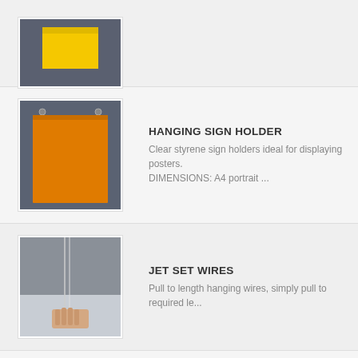[Figure (photo): Partial product image at top of page, yellow label on grey background]
[Figure (photo): Hanging sign holder with orange A4 portrait sign on grey wall background]
HANGING SIGN HOLDER
Clear styrene sign holders ideal for displaying posters. DIMENSIONS: A4 portrait ...
[Figure (photo): Jet set wires product being pulled to length, hand pulling wire on grey/blue background]
JET SET WIRES
Pull to length hanging wires, simply pull to required le...
[Figure (photo): Joiner product, hand holding PVC joiner connector piece]
JOINER
P V C Joiner for connecting AP559 poster gripper sec...